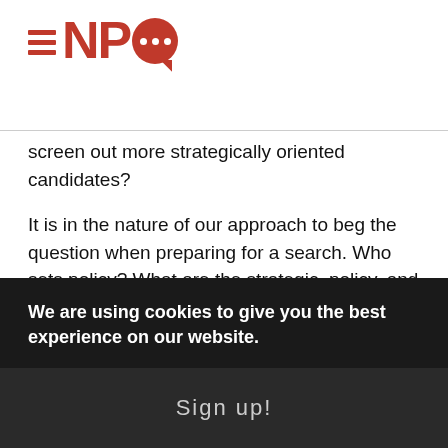[Figure (logo): NPQ logo with hamburger menu lines, red letters NP, and red speech bubble with three white dots]
screen out more strategically oriented candidates?
It is in the nature of our approach to beg the question when preparing for a search. Who sets policy? What are the strategic, policy, and political goals for the chief executive we are seeking? What authority rests with this person, and what remains with the governor's office? Are we looking for a general manager or a more typical cabinet officer? The answers to these types of questions shape a search.
For the most part, we found governors receptive to
We are using cookies to give you the best experience on our website.
Sign up!